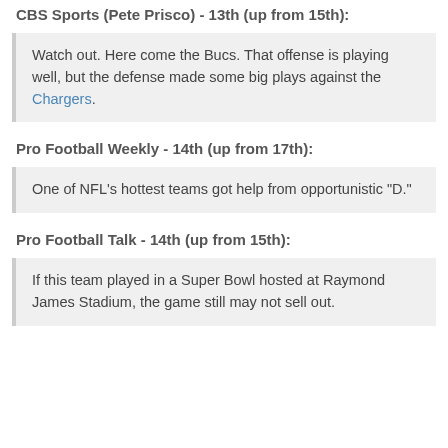CBS Sports (Pete Prisco) - 13th (up from 15th):
Watch out. Here come the Bucs. That offense is playing well, but the defense made some big plays against the Chargers.
Pro Football Weekly - 14th (up from 17th):
One of NFL's hottest teams got help from opportunistic "D."
Pro Football Talk - 14th (up from 15th):
If this team played in a Super Bowl hosted at Raymond James Stadium, the game still may not sell out.